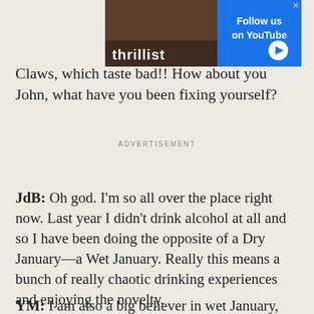[Figure (screenshot): Thrillist advertisement banner with 'Follow us on YouTube' text and play button]
Claws, which taste bad!! How about you John, what have you been fixing yourself?
ADVERTISEMENT
JdB: Oh god. I'm so all over the place right now. Last year I didn't drink alcohol at all and so I have been doing the opposite of a Dry January—a Wet January. Really this means a bunch of really chaotic drinking experiences and enjoying the novelty.
YM: I am also a big believer in wet January, like it